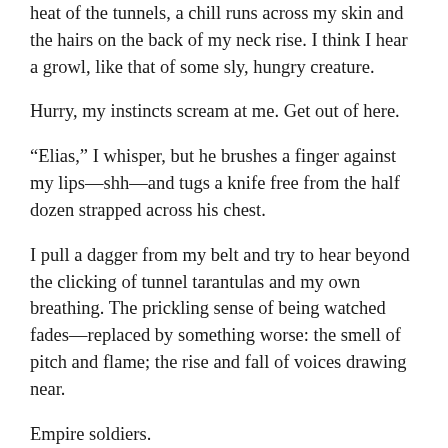heat of the tunnels, a chill runs across my skin and the hairs on the back of my neck rise. I think I hear a growl, like that of some sly, hungry creature.
Hurry, my instincts scream at me. Get out of here.
“Elias,” I whisper, but he brushes a finger against my lips—shh—and tugs a knife free from the half dozen strapped across his chest.
I pull a dagger from my belt and try to hear beyond the clicking of tunnel tarantulas and my own breathing. The prickling sense of being watched fades—replaced by something worse: the smell of pitch and flame; the rise and fall of voices drawing near.
Empire soldiers.
Elias touches my shoulder and points to his feet